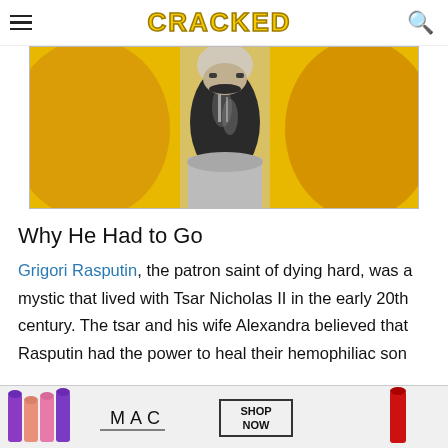CRACKED
[Figure (photo): Black and white photo of Rasputin with a long dark beard against a yellow/orange background]
Why He Had to Go
Grigori Rasputin, the patron saint of dying hard, was a mystic that lived with Tsar Nicholas II in the early 20th century. The tsar and his wife Alexandra believed that Rasputin had the power to heal their hemophiliac son
[Figure (photo): MAC cosmetics advertisement showing lipsticks with SHOP NOW button]